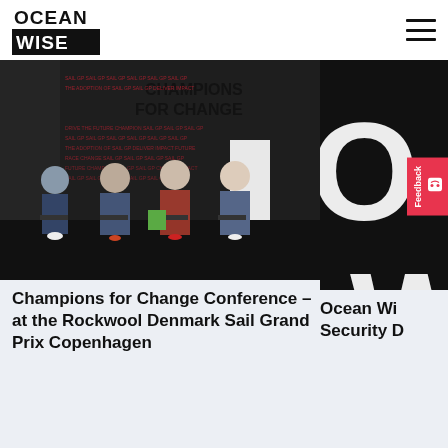Ocean Wise
[Figure (photo): Panel discussion at Champions for Change Conference at the Rockwool Denmark Sail Grand Prix Copenhagen, with several people seated on stage in front of a backdrop reading CHAMPIONS FOR CHANGE]
Champions for Change Conference – at the Rockwool Denmark Sail Grand Prix Copenhagen
[Figure (photo): Partial view of Ocean Wise logo/branding on right side]
Ocean Wi... Security D...